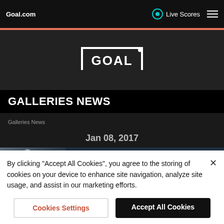Goal.com
[Figure (logo): Goal.com football goal-post logo in white on dark background]
GALLERIES NEWS
Galleries News
Jan 08, 2017
[Figure (photo): Football player photo thumbnail with Orlando Pirates loan watch article text]
Orlando Pirates loan watch
By clicking "Accept All Cookies", you agree to the storing of cookies on your device to enhance site navigation, analyze site usage, and assist in our marketing efforts.
Cookies Settings
Accept All Cookies